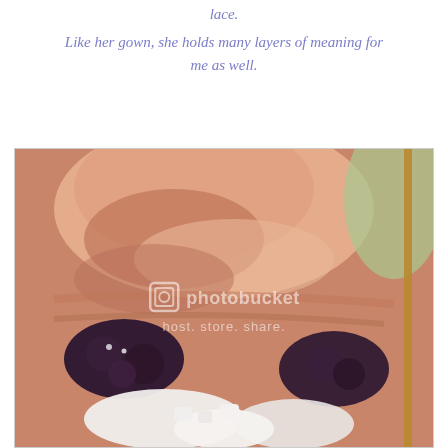lace.
Like her gown, she holds many layers of meaning for me as well.
[Figure (photo): Close-up macro photograph of what appears to be a sleeping baby doll or figurine nestled among dark purple crocheted flowers and white foamy/sugary decorative elements, with a Photobucket watermark overlay. The image has warm pinkish-beige skin tones and dark floral elements against a white background.]